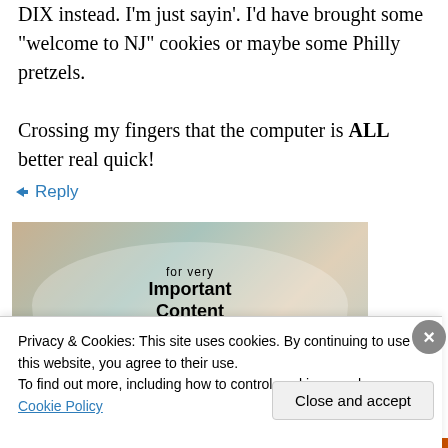DIX instead. I'm just sayin'. I'd have brought some "welcome to NJ" cookies or maybe some Philly pretzels.
Crossing my fingers that the computer is ALL better real quick!
↪ Reply
[Figure (illustration): WordPress VIP advertisement banner showing text 'for very Important Content' with WordPress VIP logo and 'Learn more' button, over a colorful background with various cards and stickers.]
Privacy & Cookies: This site uses cookies. By continuing to use this website, you agree to their use.
To find out more, including how to control cookies, see here: Cookie Policy
Close and accept